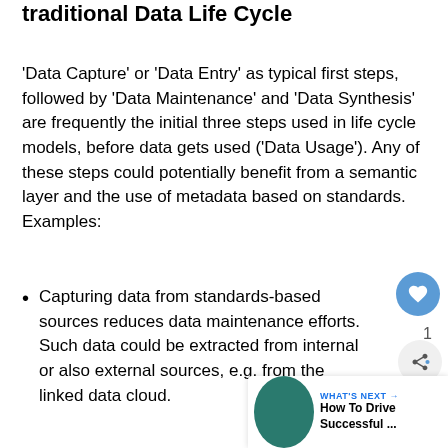traditional Data Life Cycle
'Data Capture' or 'Data Entry' as typical first steps, followed by 'Data Maintenance' and 'Data Synthesis' are frequently the initial three steps used in life cycle models, before data gets used ('Data Usage'). Any of these steps could potentially benefit from a semantic layer and the use of metadata based on standards. Examples:
Capturing data from standards-based sources reduces data maintenance efforts. Such data could be extracted from internal or also external sources, e.g. from the linked data cloud.